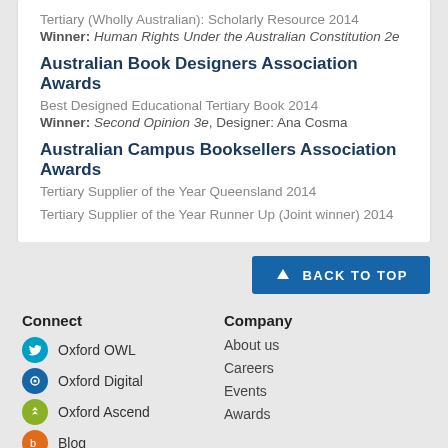Tertiary (Wholly Australian): Scholarly Resource 2014
Winner: Human Rights Under the Australian Constitution 2e
Australian Book Designers Association Awards
Best Designed Educational Tertiary Book 2014
Winner: Second Opinion 3e, Designer: Ana Cosma
Australian Campus Booksellers Association Awards
Tertiary Supplier of the Year Queensland 2014
Tertiary Supplier of the Year Runner Up (Joint winner) 2014
BACK TO TOP
Connect
Oxford OWL
Oxford Digital
Oxford Ascend
Blog
Company
About us
Careers
Events
Awards